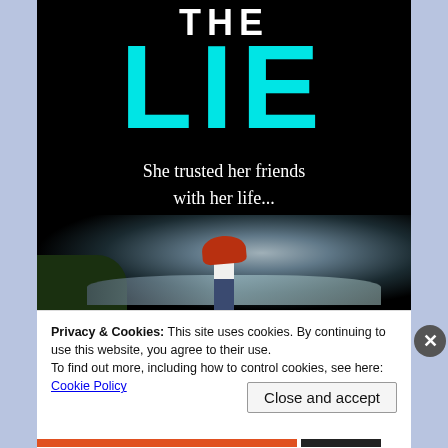[Figure (illustration): Book cover for 'THE LIE' by C.L. Taylor. Black background with large cyan text 'LIE' and white text 'THE' above it. Subtitle reads 'She trusted her friends with her life...' A woman with red hair stands facing away toward a dramatic coastal cliff scene.]
Privacy & Cookies: This site uses cookies. By continuing to use this website, you agree to their use.
To find out more, including how to control cookies, see here:
Cookie Policy
Close and accept